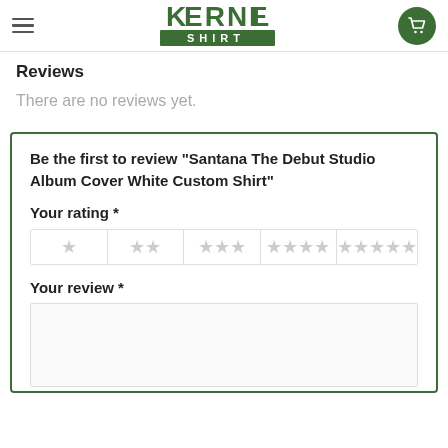Kernel Shirt
Reviews
There are no reviews yet.
Be the first to review “Santana The Debut Studio Album Cover White Custom Shirt”
Your rating *
[Figure (other): Star rating widget with 5 groups: 1 star, 2 stars, 3 stars, 4 stars, 5 stars, all shown in light grey (unselected)]
Your review *
[Figure (other): Empty text area for writing a review]